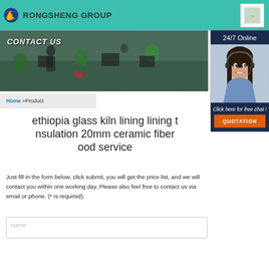[Figure (logo): Rongsheng Group logo with flame/globe icon and teal header bar]
RONGSHENG GROUP
[Figure (photo): Office environment with employees at desks and plants, with CONTACT US label overlay]
[Figure (photo): 24/7 Online customer service agent sidebar with chat and quotation button]
Home »Product
ethiopia glass kiln lining lining t nsulation 20mm ceramic fiber ood service
Just fill in the form below, click submit, you will get the price list, and we will contact you within one working day. Please also feel free to contact us via email or phone. (* is required).